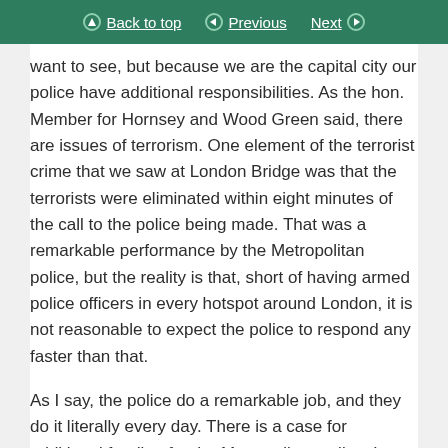Back to top | Previous | Next
want to see, but because we are the capital city our police have additional responsibilities. As the hon. Member for Hornsey and Wood Green said, there are issues of terrorism. One element of the terrorist crime that we saw at London Bridge was that the terrorists were eliminated within eight minutes of the call to the police being made. That was a remarkable performance by the Metropolitan police, but the reality is that, short of having armed police officers in every hotspot around London, it is not reasonable to expect the police to respond any faster than that.
As I say, the police do a remarkable job, and they do it literally every day. There is a case for additional funding for the Metropolitan police; I always believe